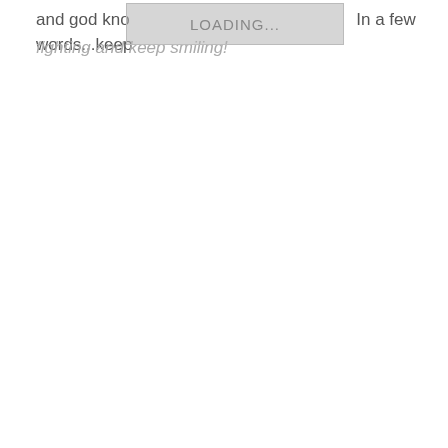and god know... In a few words...keep fighting and keep smiling!